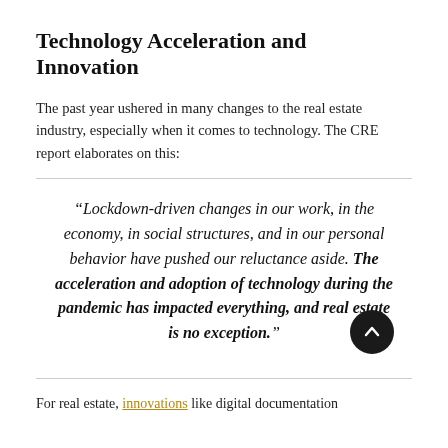Technology Acceleration and Innovation
The past year ushered in many changes to the real estate industry, especially when it comes to technology. The CRE report elaborates on this:
“Lockdown-driven changes in our work, in the economy, in social structures, and in our personal behavior have pushed our reluctance aside. The acceleration and adoption of technology during the pandemic has impacted everything, and real estate is no exception.”
For real estate, innovations like digital documentation